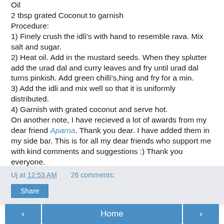Oil
2 tbsp grated Coconut to garnish
Procedure:
1) Finely crush the idli's with hand to resemble rava. Mix salt and sugar.
2) Heat oil. Add in the mustard seeds. When they splutter add the urad dal and curry leaves and fry until urad dal turns pinkish. Add green chilli's,hing and fry for a min.
3) Add the idli and mix well so that it is uniformly distributed.
4) Garnish with grated coconut and serve hot.
On another note, I have recieved a lot of awards from my dear friend Aparna. Thank you dear. I have added them in my side bar. This is for all my dear friends who support me with kind comments and suggestions :) Thank you everyone.
Uj at 12:53 AM   26 comments:
Share